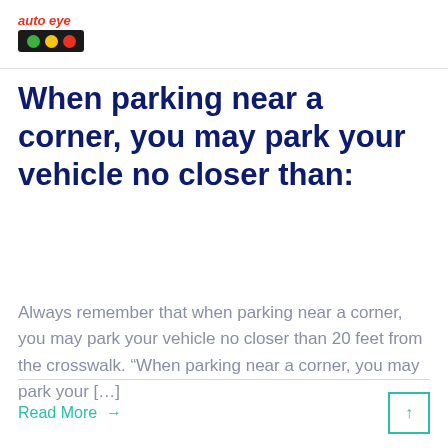[Figure (logo): Auto Eye logo with italic red text 'auto eye' above a black rounded rectangle containing green, yellow, and red circular traffic light indicators]
When parking near a corner, you may park your vehicle no closer than:
Always remember that when parking near a corner, you may park your vehicle no closer than 20 feet from the crosswalk. “When parking near a corner, you may park your […]
Read More →